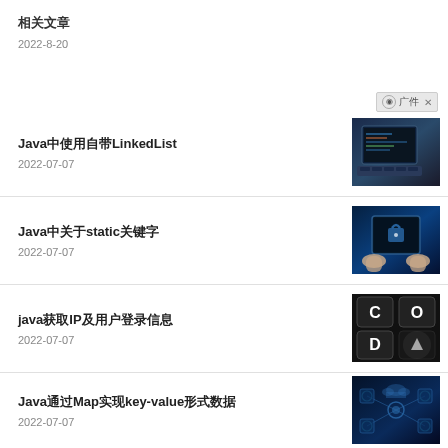相关文章
2022-8-20
Java中使用自带LinkedList
2022-07-07
Java中关于static关键字
2022-07-07
java获取IP及用户登录信息
2022-07-07
Java通过Map实现key-value形式数据
2022-07-07